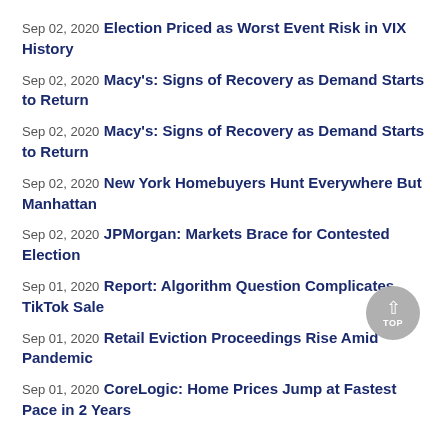Sep 02, 2020 Election Priced as Worst Event Risk in VIX History
Sep 02, 2020 Macy's: Signs of Recovery as Demand Starts to Return
Sep 02, 2020 Macy's: Signs of Recovery as Demand Starts to Return
Sep 02, 2020 New York Homebuyers Hunt Everywhere But Manhattan
Sep 02, 2020 JPMorgan: Markets Brace for Contested Election
Sep 01, 2020 Report: Algorithm Question Complicates TikTok Sale
Sep 01, 2020 Retail Eviction Proceedings Rise Amid Pandemic
Sep 01, 2020 CoreLogic: Home Prices Jump at Fastest Pace in 2 Years